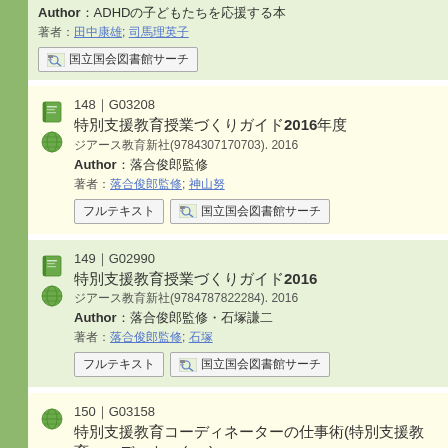Author：ADHDの子どもたちを応援する本
著者：田中康雄; 司馬理英子
国立国会図書館サーチ
148｜G03208
特別支援教育授業づくりガイド2016年度
ジアース教育新社(9784307170703). 2016
Author：落合俊郎監修
著者：落合俊郎監修; 神山努
フルテキスト　国立国会図書館サーチ
149｜G02990
特別支援教育授業づくりガイド2016
ジアース教育新社(9784787822284). 2016
Author：落合俊郎監修・石塚謙二
著者：落合俊郎監修; 石塚
フルテキスト　国立国会図書館サーチ
150｜G03158
特別支援教育コーディネーターの仕事術(特別支援教育コーディネーター)